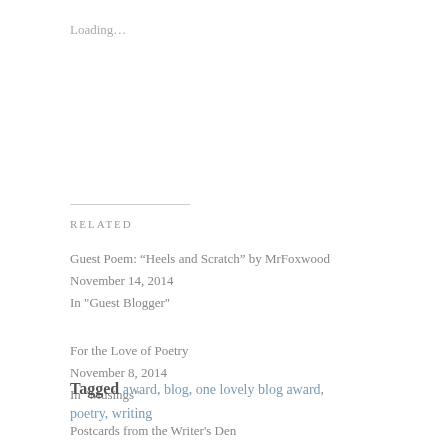Loading...
RELATED
Guest Poem: “Heels and Scratch” by MrFoxwood
November 14, 2014
In "Guest Blogger"
For the Love of Poetry
November 8, 2014
In "Musings"
Postcards from the Writer's Den
December 15, 2014
In "Musings"
Tagged award, blog, one lovely blog award, poetry, writing